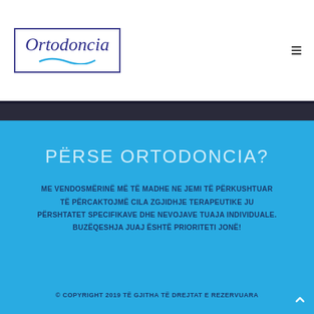[Figure (logo): Ortodoncia dental clinic logo with italic serif text and wave underline inside a rectangular border]
PËRSE ORTODONCIA?
ME VENDOSMËRINË MË TË MADHE NE JEMI TË PËRKUSHTUAR TË PËRCAKTOJMË CILA ZGJIDHJE TERAPEUTIKE JU PËRSHTATET SPECIFIKAVE DHE NEVOJAVE TUAJA INDIVIDUALE. BUZËQESHJA JUAJ ËSHTË PRIORITETI JONË!
© COPYRIGHT 2019 TË GJITHA TË DREJTAT E REZERVUARA